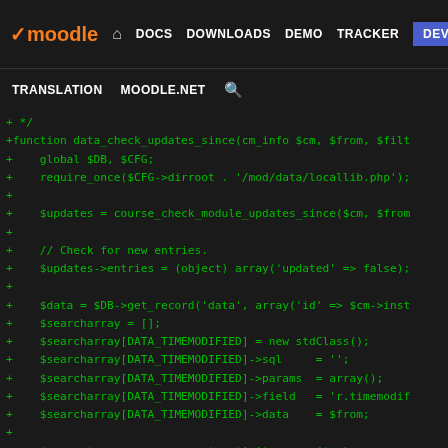moodle — DOCS DOWNLOADS DEMO TRACKER DEV | TRANSLATION MOODLE.NET
+ */
+function data_check_updates_since(cm_info $cm, $from, $filt
+    global $DB, $CFG;
+    require_once($CFG->dirroot . '/mod/data/locallib.php');
+
+    $updates = course_check_module_updates_since($cm, $from
+
+    // Check for new entries.
+    $updates->entries = (object) array('updated' => false);
+
+    $data = $DB->get_record('data', array('id' => $cm->inst
+    $searcharray = [];
+    $searcharray[DATA_TIMEMODIFIED] = new stdClass();
+    $searcharray[DATA_TIMEMODIFIED]->sql     = '';
+    $searcharray[DATA_TIMEMODIFIED]->params  = array();
+    $searcharray[DATA_TIMEMODIFIED]->field   = 'r.timemodif
+    $searcharray[DATA_TIMEMODIFIED]->data    = $from;
+
+    $currentgroup = groups_get_activity_group($cm);
+    list($entries, $maxcount, $totalcount, $page, $nowperpa
+        data_search_entries($data, $cm, $cm->context, 'list
+
+    if (!empty($entries)) {
+        $updates->entries->updated = true;
+        $updates->entries->itemids = array_keys($entries);
+    }